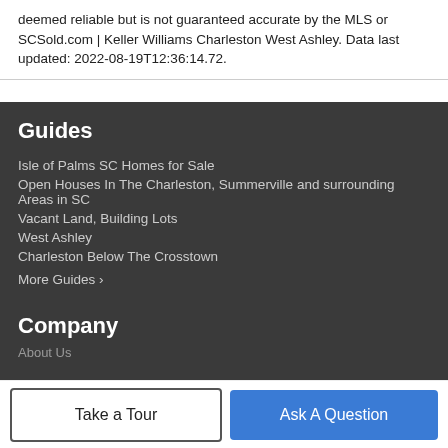deemed reliable but is not guaranteed accurate by the MLS or SCSold.com | Keller Williams Charleston West Ashley. Data last updated: 2022-08-19T12:36:14.72.
Guides
Isle of Palms SC Homes for Sale
Open Houses In The Charleston, Summerville and surrounding Areas in SC
Vacant Land, Building Lots
West Ashley
Charleston Below The Crosstown
More Guides ›
Company
About Us